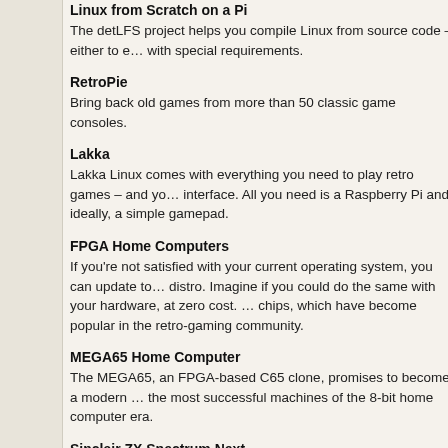Linux from Scratch on a Pi
The detLFS project helps you compile Linux from source code – either to e… with special requirements.
RetroPie
Bring back old games from more than 50 classic game consoles.
Lakka
Lakka Linux comes with everything you need to play retro games – and yo… interface. All you need is a Raspberry Pi and, ideally, a simple gamepad.
FPGA Home Computers
If you're not satisfied with your current operating system, you can update to… distro. Imagine if you could do the same with your hardware, at zero cost. … chips, which have become popular in the retro-gaming community.
MEGA65 Home Computer
The MEGA65, an FPGA-based C65 clone, promises to become a modern … the most successful machines of the 8-bit home computer era.
Sinclair ZX Spectrum Next
Back in the '80s, the Zilog Z80 was a powerful processor, and the home co… made good use of it. Today it can be hard to find a Speccy in good conditio… the day: We present the Sinclair ZX Spectrum Next.
Additional Information